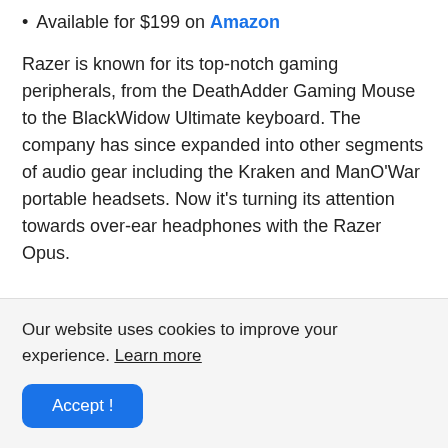Available for $199 on Amazon
Razer is known for its top-notch gaming peripherals, from the DeathAdder Gaming Mouse to the BlackWidow Ultimate keyboard. The company has since expanded into other segments of audio gear including the Kraken and ManO'War portable headsets. Now it's turning its attention towards over-ear headphones with the Razer Opus.
Our website uses cookies to improve your experience. Learn more
Accept !